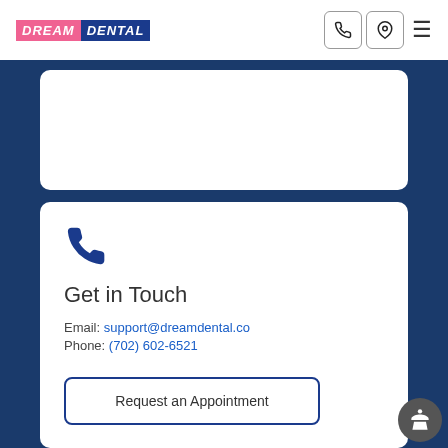[Figure (logo): Dream Dental logo with pink DREAM and blue DENTAL text on colored backgrounds]
[Figure (infographic): Navigation icons: phone button, location pin button, and hamburger menu]
Get in Touch
Email: support@dreamdental.co
Phone: (702) 602-6521
Request an Appointment